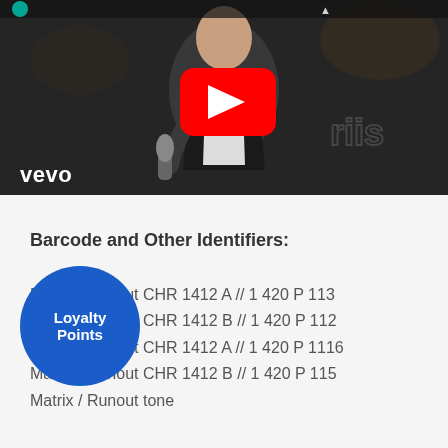[Figure (screenshot): YouTube/Vevo video thumbnail showing a man singing into a microphone in black and white, with a red YouTube play button overlay and 'vevo' watermark in bottom left]
Barcode and Other Identifiers:
Matrix / Runout CHR 1412 A // 1 420 P 113
Matrix / Runout CHR 1412 B // 1 420 P 112
Matrix / Runout CHR 1412 A // 1 420 P 1116
Matrix / Runout CHR 1412 B // 1 420 P 115
Matrix / Runout tone
[Figure (other): Blue circular Loyalty Points badge overlay]